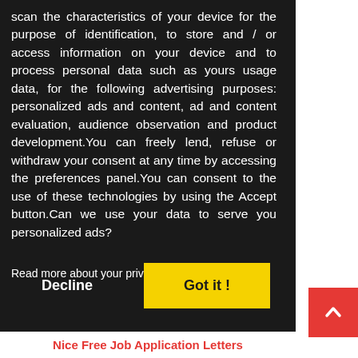scan the characteristics of your device for the purpose of identification, to store and / or access information on your device and to process personal data such as yours usage data, for the following advertising purposes: personalized ads and content, ad and content evaluation, audience observation and product development.You can freely lend, refuse or withdraw your consent at any time by accessing the preferences panel.You can consent to the use of these technologies by using the Accept button.Can we use your data to serve you personalized ads?
Read more about your privacy HERE
Decline
Got it !
Nice Free Job Application Letters